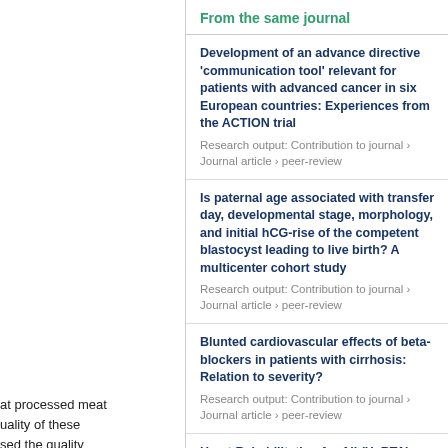at processed meat quality of these sed the quality es that examined the scular diseases atic literature search of the systematic iews (AMSTAR). All quality assessment D, and each of the g the Grading of systematic reviews uality assessment of d from 5 to 8 are generally lacking: ed meat intake and
From the same journal
Development of an advance directive 'communication tool' relevant for patients with advanced cancer in six European countries: Experiences from the ACTION trial
Research output: Contribution to journal › Journal article › peer-review
Is paternal age associated with transfer day, developmental stage, morphology, and initial hCG-rise of the competent blastocyst leading to live birth? A multicenter cohort study
Research output: Contribution to journal › Journal article › peer-review
Blunted cardiovascular effects of beta-blockers in patients with cirrhosis: Relation to severity?
Research output: Contribution to journal › Journal article › peer-review
Heart Rehabilitation for All (HeRTA): Protocol for a feasibility study and pilot randomized trial
Research output: Contribution to journal › Journal article › peer-review
Potential role of conventional and speckle-tracking echocardiography in the screening of structural and functional cardiac abnormalities in elderly individuals: Baseline echocardiographic findings from the LOOP study